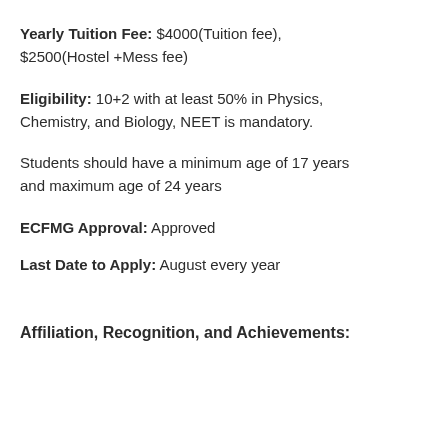Yearly Tuition Fee: $4000(Tuition fee), $2500(Hostel +Mess fee)
Eligibility: 10+2 with at least 50% in Physics, Chemistry, and Biology, NEET is mandatory.
Students should have a minimum age of 17 years and maximum age of 24 years
ECFMG Approval: Approved
Last Date to Apply: August every year
Affiliation, Recognition, and Achievements: